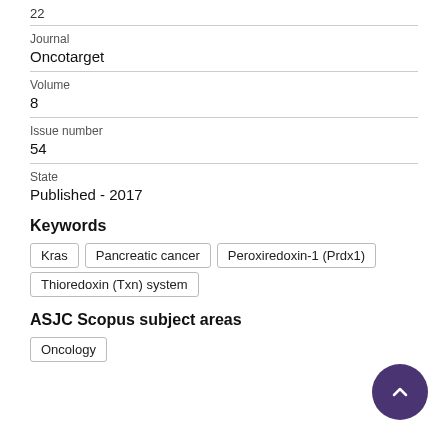Journal
Oncotarget
Volume
8
Issue number
54
State
Published - 2017
Keywords
Kras
Pancreatic cancer
Peroxiredoxin-1 (Prdx1)
Thioredoxin (Txn) system
ASJC Scopus subject areas
Oncology